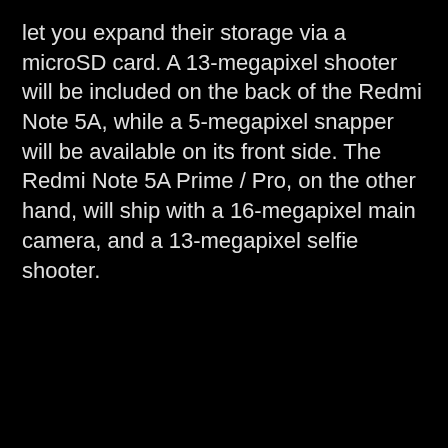let you expand their storage via a microSD card. A 13-megapixel shooter will be included on the back of the Redmi Note 5A, while a 5-megapixel snapper will be available on its front side. The Redmi Note 5A Prime / Pro, on the other hand, will ship with a 16-megapixel main camera, and a 13-megapixel selfie shooter.
[Figure (screenshot): Advertisement screenshot showing Digital Trends logo partially visible with overlapping Samsung Galaxy Buds 2 Pro review video popup. Bottom shows 'Most vi... YouTub... videos o...' text. Video popup shows 'GALAXY BUDS 2 PRO' text with a person holding earbuds.]